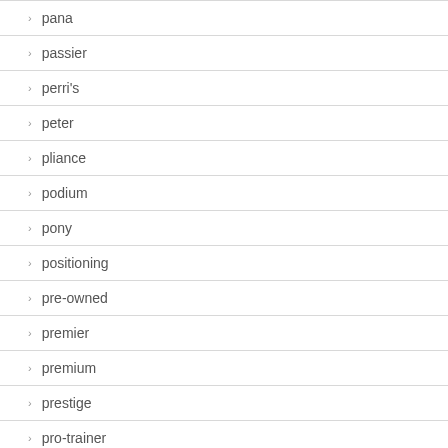pana
passier
perri's
peter
pliance
podium
pony
positioning
pre-owned
premier
premium
prestige
pro-trainer
product